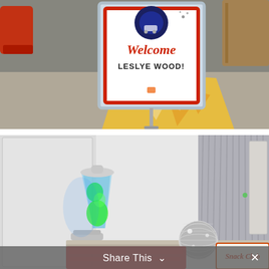[Figure (photo): Photo of a welcome sign on a stand reading 'Welcome LESLYE WOOD!' with a retro roller-skating theme. The sign has a red border, script 'Welcome' in red cursive, and 'LESLYE WOOD!' in dark text. There is a yellow/orange geometric triangle-patterned floor runner below, and grey carpet around it. A red chair and wooden furniture are visible in the background.]
[Figure (photo): Photo of a retro-themed office setup with a blue and green lava lamp on the left, a disco mirror ball in the center on a table with red branded materials and a 'Snack Club' sign visible on the right. A grey metallic curtain/partition and office doors are in the background.]
Share This ∨  ✕